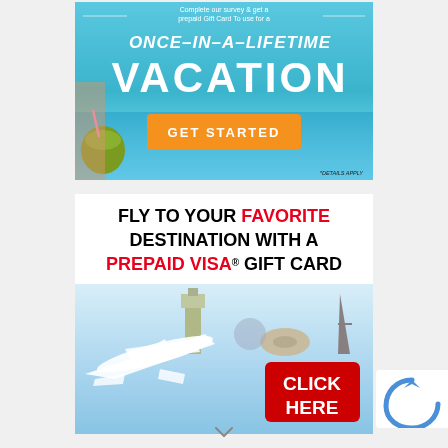[Figure (infographic): Top advertisement banner: tropical beach scene with coconut drink, text 'Complete our survey & get a prepaid Gift Card To use for a ONCE-IN-A-LIFETIME VACATION' with orange GET STARTED button and '*DETAILS APPLY' note]
[Figure (infographic): Bottom advertisement banner: white background with text 'FLY TO YOUR FAVORITE DESTINATION WITH A PREPAID VISA® GIFT CARD', sky-blue lower section with airplane silhouette and world landmarks (Big Ben, Eiffel Tower, Sphinx), red CLICK HERE button]